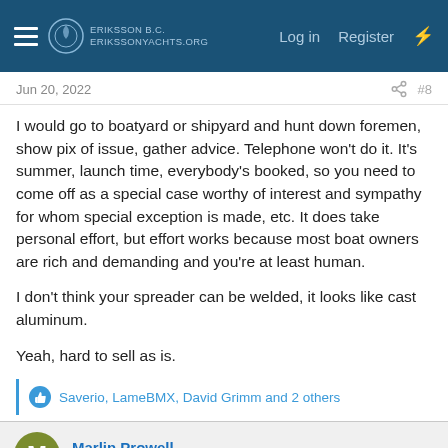ErikssonYachts.org — Log in | Register
Jun 20, 2022  #8
I would go to boatyard or shipyard and hunt down foremen, show pix of issue, gather advice. Telephone won't do it. It's summer, launch time, everybody's booked, so you need to come off as a special case worthy of interest and sympathy for whom special exception is made, etc. It does take personal effort, but effort works because most boat owners are rich and demanding and you're at least human.

I don't think your spreader can be welded, it looks like cast aluminum.

Yeah, hard to sell as is.
Saverio, LameBMX, David Grimm and 2 others
Marlin Prowell
E34 · Bellingham, WA